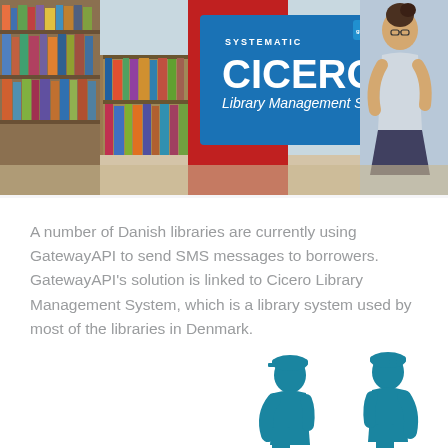[Figure (photo): Photo of a library interior with bookshelves, showing the Systematic Cicero Library Management System blue sign/banner. A woman with glasses is visible on the right side, sitting and reading. GatewayAPI logo is on the sign.]
A number of Danish libraries are currently using GatewayAPI to send SMS messages to borrowers. GatewayAPI's solution is linked to Cicero Library Management System, which is a library system used by most of the libraries in Denmark.
[Figure (illustration): Two teal/blue silhouettes of people wearing caps and looking at mobile phones, facing each other.]